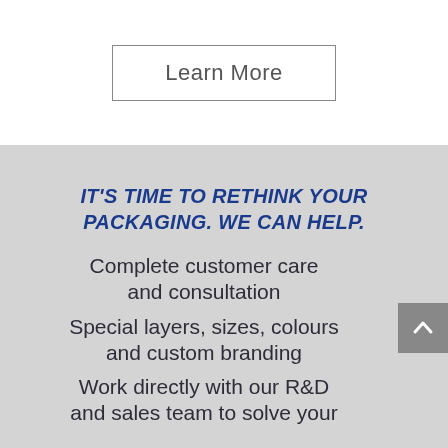Learn More
IT'S TIME TO RETHINK YOUR PACKAGING. WE CAN HELP.
Complete customer care and consultation
Special layers, sizes, colours and custom branding
Work directly with our R&D and sales team to solve your